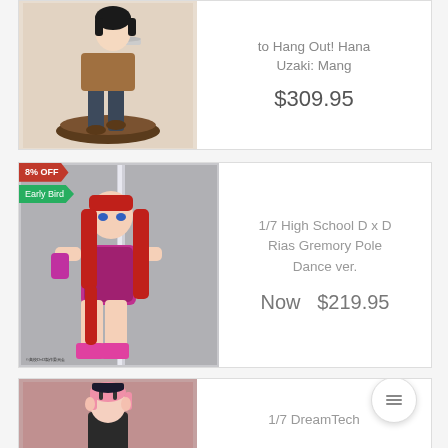[Figure (photo): Anime figure of Hana Uzaki in casual clothing holding a tray, standing on a circular wooden base]
to Hang Out! Hana Uzaki: Mang
$309.95
[Figure (photo): Anime figure of Rias Gremory in red and purple swimsuit pose with a pole, red long hair, with 8% OFF and Early Bird badges]
1/7 High School D x D Rias Gremory Pole Dance ver.
Now   $219.95
[Figure (photo): Anime figure partial view, character with pink hair in dark outfit, brown/pink background]
1/7 DreamTech